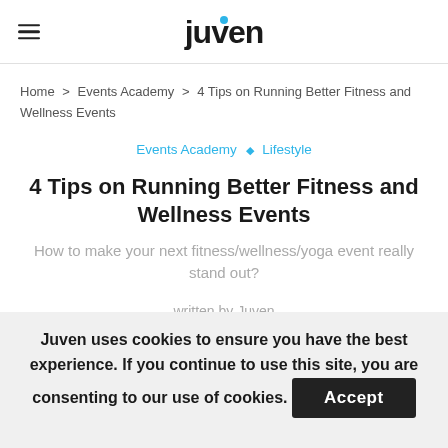juven
Home > Events Academy > 4 Tips on Running Better Fitness and Wellness Events
Events Academy ◇ Lifestyle
4 Tips on Running Better Fitness and Wellness Events
How to make your next fitness/wellness/yoga event really stand out?
written by Juven
Juven uses cookies to ensure you have the best experience. If you continue to use this site, you are consenting to our use of cookies. Accept